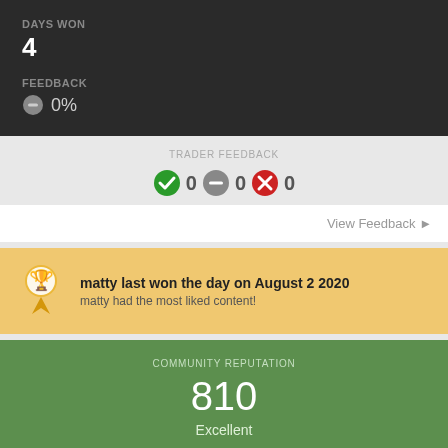DAYS WON
4
FEEDBACK
⊖ 0%
TRADER FEEDBACK
✓ 0 ⊖ 0 ✗ 0
View Feedback ▶
matty last won the day on August 2 2020
matty had the most liked content!
COMMUNITY REPUTATION
810
Excellent
ABOUT MATTY